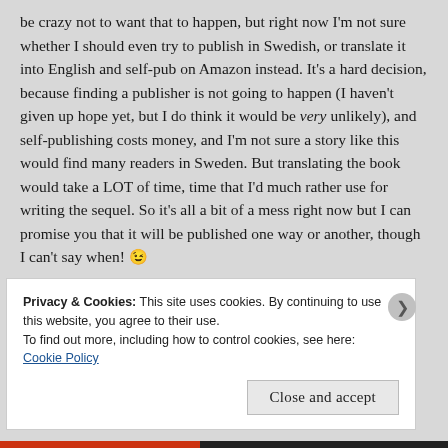be crazy not to want that to happen, but right now I'm not sure whether I should even try to publish in Swedish, or translate it into English and self-pub on Amazon instead. It's a hard decision, because finding a publisher is not going to happen (I haven't given up hope yet, but I do think it would be very unlikely), and self-publishing costs money, and I'm not sure a story like this would find many readers in Sweden. But translating the book would take a LOT of time, time that I'd much rather use for writing the sequel. So it's all a bit of a mess right now but I can promise you that it will be published one way or another, though I can't say when! 😉
Privacy & Cookies: This site uses cookies. By continuing to use this website, you agree to their use. To find out more, including how to control cookies, see here: Cookie Policy
Close and accept